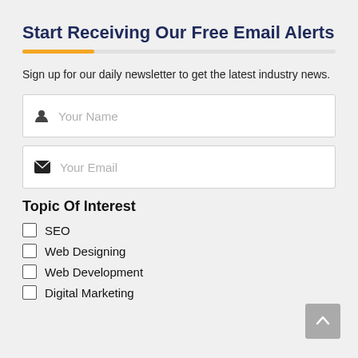Start Receiving Our Free Email Alerts
Sign up for our daily newsletter to get the latest industry news.
Your Name
Your Email
Topic Of Interest
SEO
Web Designing
Web Development
Digital Marketing